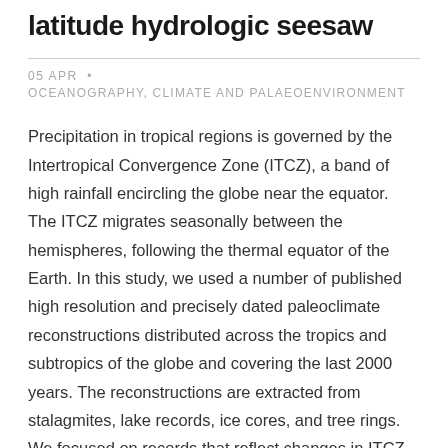latitude hydrologic seesaw
05 APR •
OCEANOGRAPHY, CLIMATE AND PALAEOENVIRONMENT
Precipitation in tropical regions is governed by the Intertropical Convergence Zone (ITCZ), a band of high rainfall encircling the globe near the equator. The ITCZ migrates seasonally between the hemispheres, following the thermal equator of the Earth. In this study, we used a number of published high resolution and precisely dated paleoclimate reconstructions distributed across the tropics and subtropics of the globe and covering the last 2000 years. The reconstructions are extracted from stalagmites, lake records, ice cores, and tree rings. We focused on records that reflect changes in ITCZ-driven precipitation, to track past changes in this important